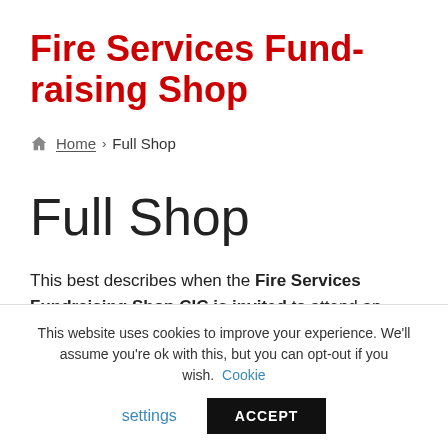Fire Services Fundraising Shop
Home › Full Shop
Full Shop
This best describes when the Fire Services Fundraising Shop CIC is invited to attend an event to run a large
This website uses cookies to improve your experience. We'll assume you're ok with this, but you can opt-out if you wish. Cookie settings ACCEPT